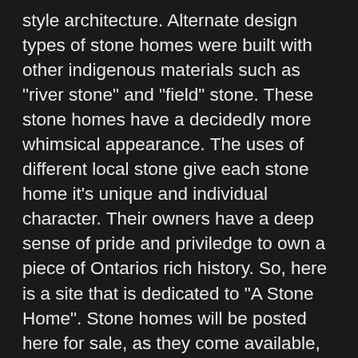style architecture. Alternate design types of stone homes were built with other indigenous materials such as "river stone" and "field" stone. These stone homes have a decidedly more whimsical appearance. The uses of different local stone give each stone home it's unique and individual character. Their owners have a deep sense of pride and priviledge to own a piece of Ontarios rich history. So, here is a site that is dedicated to "A Stone Home". Stone homes will be posted here for sale, as they come available, and if you are in search of your own Stone Home or have a Stone Home to sell, please send us an email or give us a call. Serving property owners and real estate buyers in all areas of Ontario. Including Ottawa, Stouville, Toronto, Markham, Kitchener, Erin, Brockville, The Ottawa Valley, Oshawa, Broklin, Courtice, Newcastle, Newtonville, Port Hope, Bowmanville, Clarington, Orono, Kendall, Peterborough, Kawartha Lakes, Millbrook, Cavan Township, Hope Township, Northumberland, Cobourg, Port Hope, Hamilton Township, Alnwick Haldimand Trent